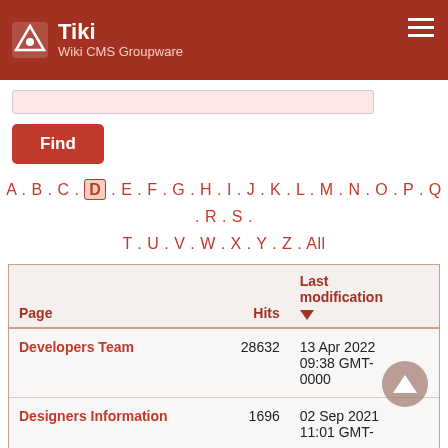Tiki Wiki CMS Groupware
Find
A . B . C . D . E . F . G . H . I . J . K . L . M . N . O . P . Q . R . S . T . U . V . W . X . Y . Z . All
| Page | Hits | Last modification ▼ |
| --- | --- | --- |
| Developers Team | 28632 | 13 Apr 2022 09:38 GMT-0000 |
| Designers Information | 1696 | 02 Sep 2021 11:01 GMT-... |